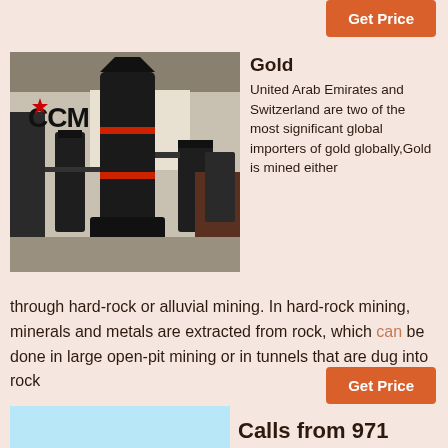Get Price
[Figure (photo): Industrial mining machinery (vertical mill/grinder) with CCM logo in a factory setting]
Gold
United Arab Emirates and Switzerland are two of the most significant global importers of gold globally,Gold is mined either through hard-rock or alluvial mining. In hard-rock mining, minerals and metals are extracted from rock, which can be done in large open-pit mining or in tunnels that are dug into rock
Get Price
Calls from 971